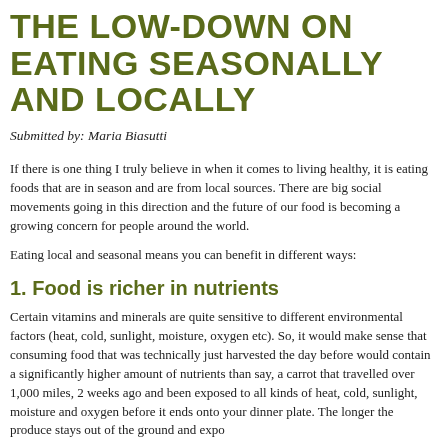THE LOW-DOWN ON EATING SEASONALLY AND LOCALLY
Submitted by: Maria Biasutti
If there is one thing I truly believe in when it comes to living healthy, it is eating foods that are in season and are from local sources. There are big social movements going in this direction and the future of our food is becoming a growing concern for people around the world.
Eating local and seasonal means you can benefit in different ways:
1. Food is richer in nutrients
Certain vitamins and minerals are quite sensitive to different environmental factors (heat, cold, sunlight, moisture, oxygen etc). So, it would make sense that consuming food that was technically just harvested the day before would contain a significantly higher amount of nutrients than say, a carrot that travelled over 1,000 miles, 2 weeks ago and been exposed to all kinds of heat, cold, sunlight, moisture and oxygen before it ends onto your dinner plate. The longer the produce stays out of the ground and expo